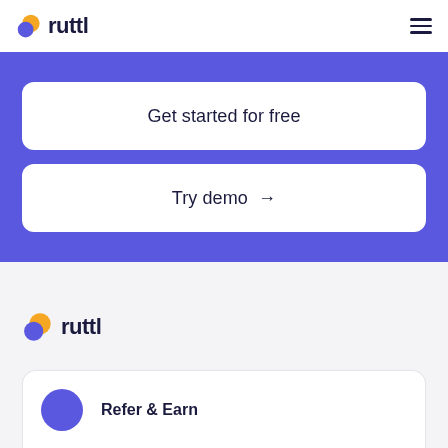[Figure (logo): Ruttl logo in header — purple and yellow circle icon with dark text 'ruttl']
[Figure (illustration): Hamburger menu icon (three horizontal lines) in top right corner]
Get started for free
Try demo →
[Figure (logo): Ruttl logo in footer section — purple and yellow circle icon with dark text 'ruttl']
Refer & Earn